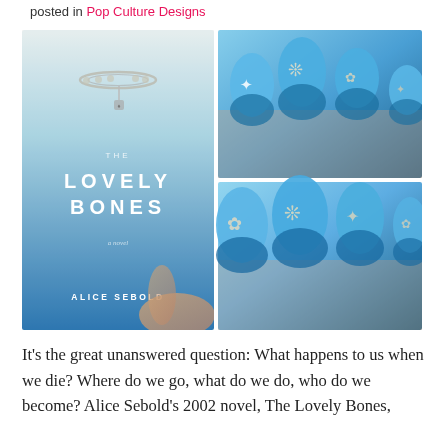posted in Pop Culture Designs
[Figure (photo): Photo collage: left side shows a hand holding The Lovely Bones book by Alice Sebold (blue gradient cover with white text and a charm bracelet illustration); right side shows two close-up photos of blue nails with silver butterfly/charm designs.]
It's the great unanswered question: What happens to us when we die? Where do we go, what do we do, who do we become? Alice Sebold's 2002 novel, The Lovely Bones,